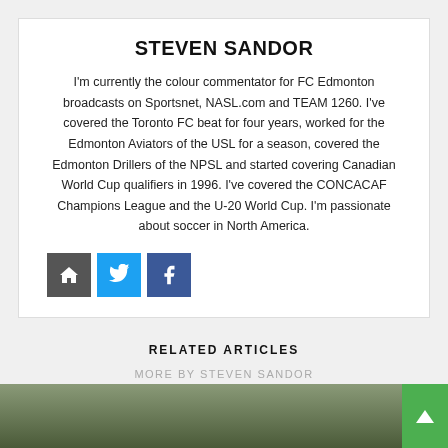STEVEN SANDOR
I'm currently the colour commentator for FC Edmonton broadcasts on Sportsnet, NASL.com and TEAM 1260. I've covered the Toronto FC beat for four years, worked for the Edmonton Aviators of the USL for a season, covered the Edmonton Drillers of the NPSL and started covering Canadian World Cup qualifiers in 1996. I've covered the CONCACAF Champions League and the U-20 World Cup. I'm passionate about soccer in North America.
[Figure (infographic): Social media icon buttons: home (dark grey), Twitter (blue), Facebook (blue)]
RELATED ARTICLES
MORE BY STEVEN SANDOR
MORE IN EUROPE
[Figure (photo): Partial photo of a person, cropped at bottom of page]